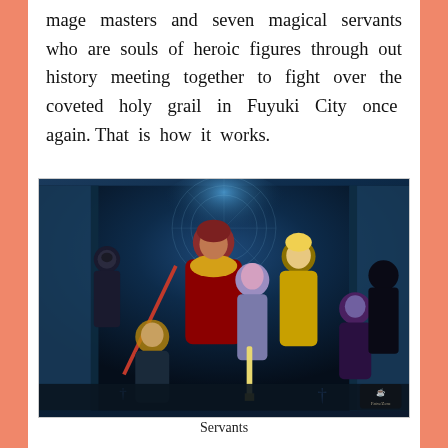mage masters and seven magical servants who are souls of heroic figures through out history meeting together to fight over the coveted holy grail in Fuyuki City once again. That is how it works.
[Figure (illustration): Anime illustration of Fate series characters labeled 'Servants' — group of armored and costumed heroic figures including Saber in the center with a sword, a large figure in red cape with fur, a figure in golden coat, and dark-clad figures, set against a blue magical circular background.]
Servants